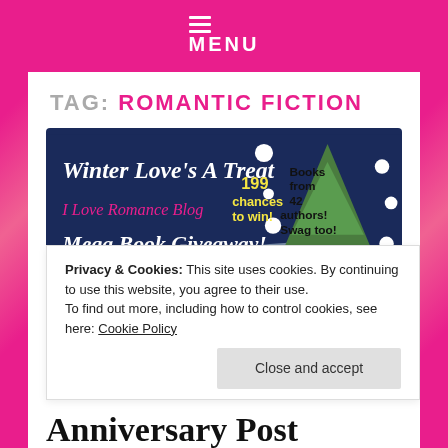MENU
TAG: ROMANTIC FICTION
[Figure (illustration): Promotional banner for 'Winter Love's A Treat' Mega Book Giveaway on I Love Romance Blog. Dark navy background with Christmas tree graphic, white snowflakes, text: '199 chances to win! Books from 42 authors! Swag too!']
Winter Love's A Treat
Privacy & Cookies: This site uses cookies. By continuing to use this website, you agree to their use.
To find out more, including how to control cookies, see here: Cookie Policy
Anniversary Post